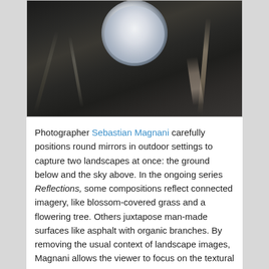[Figure (photo): A dramatic dark rock face photograph with a circular mirror placed at the top center, reflecting a cloudy night sky that appears like a full moon. The rocks are dark, textured with streaks of lighter minerals.]
Photographer Sebastian Magnani carefully positions round mirrors in outdoor settings to capture two landscapes at once: the ground below and the sky above. In the ongoing series Reflections, some compositions reflect connected imagery, like blossom-covered grass and a flowering tree. Others juxtapose man-made surfaces like asphalt with organic branches. By removing the usual context of landscape images, Magnani allows the viewer to focus on the textural qualities of the environment, and some images even veer into illusions, as with the cloudy night sky that appears like a full